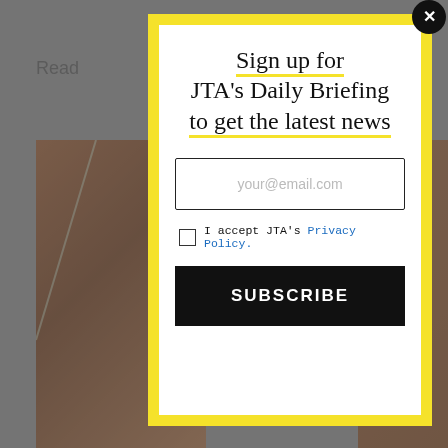Read
[Figure (photo): Background photo of wooden surface, partially visible behind modal overlay]
Maor ... ers at the Ba... (Richa...
Ma...
Sign up for JTA's Daily Briefing to get the latest news
your@email.com
I accept JTA's Privacy Policy.
SUBSCRIBE